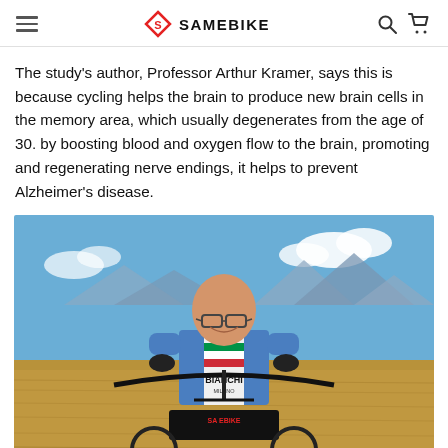SAMEBIKE
The study's author, Professor Arthur Kramer, says this is because cycling helps the brain to produce new brain cells in the memory area, which usually degenerates from the age of 30. by boosting blood and oxygen flow to the brain, promoting and regenerating nerve endings, it helps to prevent Alzheimer's disease.
[Figure (photo): A bald man wearing glasses and a Bianchi cycling jersey standing with a bicycle in an open field with mountains and blue sky in the background.]